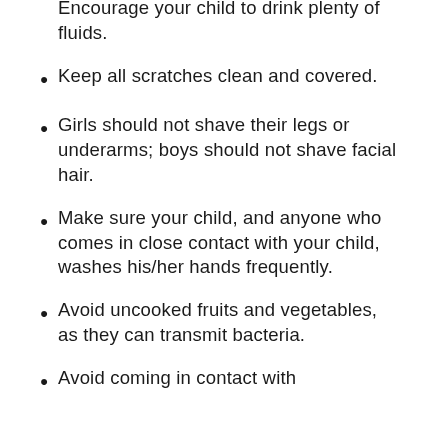Encourage your child to drink plenty of fluids.
Keep all scratches clean and covered.
Girls should not shave their legs or underarms; boys should not shave facial hair.
Make sure your child, and anyone who comes in close contact with your child, washes his/her hands frequently.
Avoid uncooked fruits and vegetables, as they can transmit bacteria.
Avoid coming in contact with